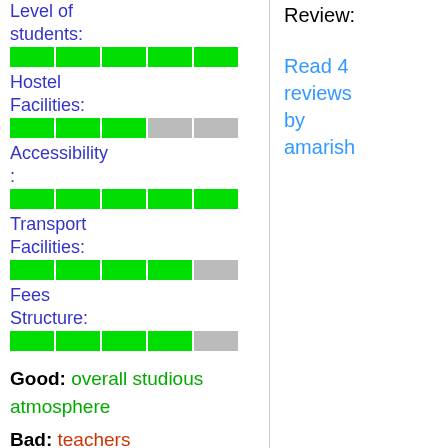Level of students:
[Figure (infographic): Rating bar for Level of students: 5 green segments]
Hostel Facilities:
[Figure (infographic): Rating bar for Hostel Facilities: 3 green segments, 2 gray segments]
Accessibility:
[Figure (infographic): Rating bar for Accessibility: 5 green segments]
Transport Facilities:
[Figure (infographic): Rating bar for Transport Facilities: 4 green segments, 1 gray segment]
Fees Structure:
[Figure (infographic): Rating bar for Fees Structure: 4 green segments, 1 gray segment]
Good: overall studious atmosphere
Bad: teachers
Recommend: Yes
Review:
Read 4 reviews by amarish